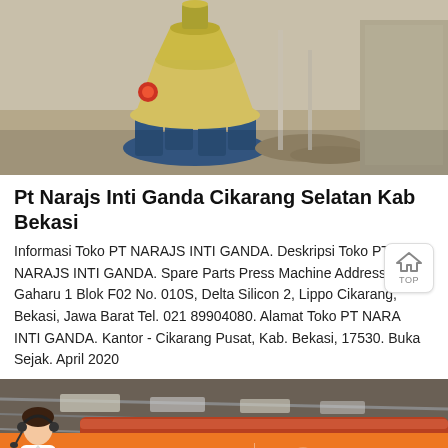[Figure (photo): Industrial yellow cone crusher machine on blue metal stand in a dusty outdoor/covered workspace with scattered debris on the ground.]
Pt Narajs Inti Ganda Cikarang Selatan Kab Bekasi
Informasi Toko PT NARAJS INTI GANDA. Deskripsi Toko PT NARAJS INTI GANDA. Spare Parts Press Machine Address Jl. Gaharu 1 Blok F02 No. 010S, Delta Silicon 2, Lippo Cikarang, Bekasi, Jawa Barat Tel. 021 89904080. Alamat Toko PT NARAJS INTI GANDA. Kantor - Cikarang Pusat, Kab. Bekasi, 17530. Buka Sejak. April 2020
[Figure (photo): Interior of an industrial warehouse with metal roof structure and large orange/red pipes or ducts visible. A customer service representative with headset is shown at bottom left.]